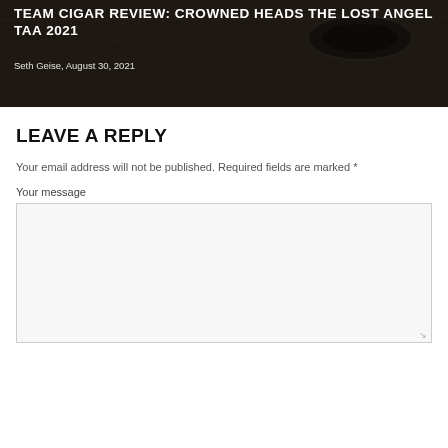[Figure (photo): Dark hero image with a cigar ring/band on a wooden surface, overlaid with white bold uppercase title text and byline]
TEAM CIGAR REVIEW: CROWNED HEADS THE LOST ANGEL TAA 2021
Seth Geise, August 30, 2021
LEAVE A REPLY
Your email address will not be published. Required fields are marked *
Your message
[Figure (screenshot): Empty textarea input box for user message with resize handle at bottom right]